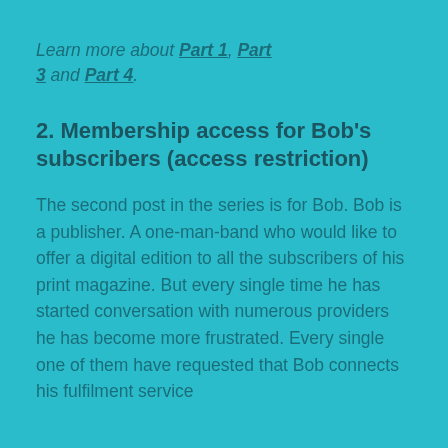Learn more about Part 1, Part 3 and Part 4.
2. Membership access for Bob's subscribers (access restriction)
The second post in the series is for Bob. Bob is a publisher. A one-man-band who would like to offer a digital edition to all the subscribers of his print magazine. But every single time he has started conversation with numerous providers he has become more frustrated. Every single one of them have requested that Bob connects his fulfilment service